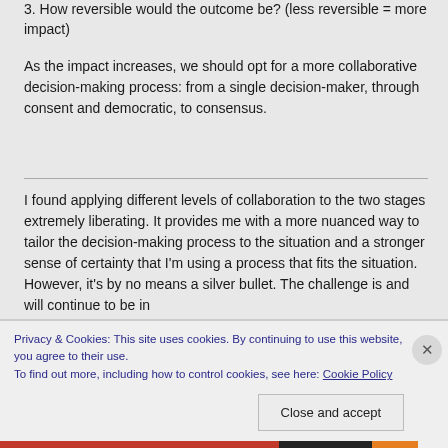3. How reversible would the outcome be? (less reversible = more impact)
As the impact increases, we should opt for a more collaborative decision-making process: from a single decision-maker, through consent and democratic, to consensus.
I found applying different levels of collaboration to the two stages extremely liberating. It provides me with a more nuanced way to tailor the decision-making process to the situation and a stronger sense of certainty that I'm using a process that fits the situation. However, it's by no means a silver bullet. The challenge is and will continue to be in
Privacy & Cookies: This site uses cookies. By continuing to use this website, you agree to their use.
To find out more, including how to control cookies, see here: Cookie Policy
Close and accept